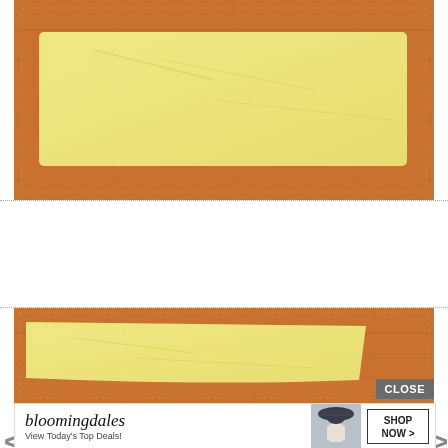[Figure (photo): Yellow folded fabric/cloth laid flat on a wooden floor, viewed from above. The fabric is rectangular and slightly wrinkled.]
Step 3: Cut all of your rectangles so they are tapered on the sides by about 2 inches and round out the bigger end, which will become your hem.
[Figure (photo): Yellow tapered fabric piece on wooden floor, showing the cut shape with rounded end for hem.]
[Figure (photo): Bloomingdale's advertisement banner: 'bloomingdales - View Today's Top Deals!' with a woman in a wide-brim hat and 'SHOP NOW >' button.]